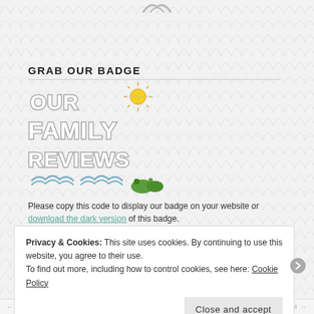[Figure (logo): Partial logo at top center of page, gray wing/bird shape]
GRAB OUR BADGE
[Figure (illustration): Our Family Reviews badge: hand-drawn 3D block letters spelling OUR FAMILY REVIEWS with a sun, clouds, and hills/landscape illustration below]
Please copy this code to display our badge on your website or download the dark version of this badge.
Privacy & Cookies: This site uses cookies. By continuing to use this website, you agree to their use.
To find out more, including how to control cookies, see here: Cookie Policy
Close and accept